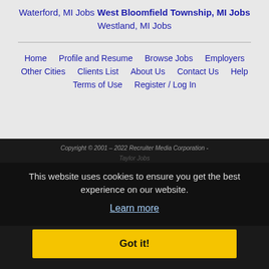Waterford, MI Jobs
West Bloomfield Township, MI Jobs
Westland, MI Jobs
Home | Profile and Resume | Browse Jobs | Employers | Other Cities | Clients List | About Us | Contact Us | Help | Terms of Use | Register / Log In
Copyright © 2001 - 2022 Recruiter Media Corporation - Taylor Jobs
This website uses cookies to ensure you get the best experience on our website. Learn more
Got it!